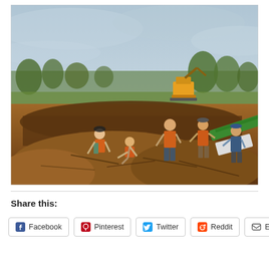[Figure (photo): Group of volunteers in orange shirts digging and working in a muddy, excavated area outdoors after what appears to be storm or disaster cleanup. Trees and heavy equipment visible in background under overcast sky.]
Share this: